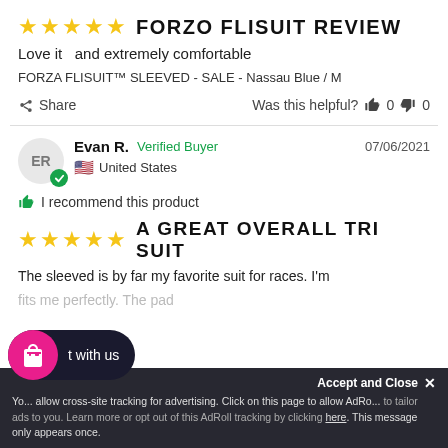★★★★★ FORZO FLISUIT REVIEW
Love it  and extremely comfortable
FORZA FLISUIT™ SLEEVED - SALE - Nassau Blue / M
Share   Was this helpful? 👍 0 👎 0
Evan R. Verified Buyer  07/06/2021  United States
I recommend this product
★★★★★ A GREAT OVERALL TRI SUIT
The sleeved is by far my favorite suit for races. I'm
You ... allow cross-site tracking for advertising. Click on this page to allow AdRoll ... to tailor ads to you. Learn more or opt out of this AdRoll tracking by clicking here. This message only appears once.